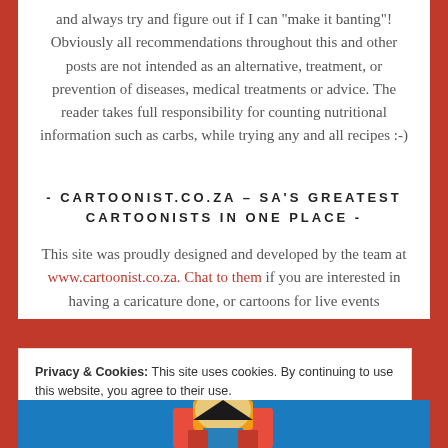and always try and figure out if I can "make it banting"! Obviously all recommendations throughout this and other posts are not intended as an alternative, treatment, or prevention of diseases, medical treatments or advice. The reader takes full responsibility for counting nutritional information such as carbs, while trying any and all recipes :-)
- CARTOONIST.CO.ZA – SA'S GREATEST CARTOONISTS IN ONE PLACE -
This site was proudly designed and developed by the team at www.cartoonist.co.za. Chat to them if you are interested in having a caricature done, or cartoons for live events
Privacy & Cookies: This site uses cookies. By continuing to use this website, you agree to their use. To find out more, including how to control cookies, see here: Cookie Policy
[Figure (illustration): Partial view of a cartoon/caricature figure at the bottom of the page]